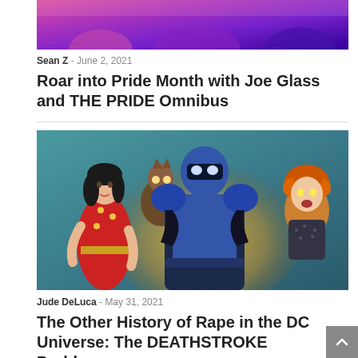[Figure (illustration): Partial comic book artwork with pink/purple background showing superhero figures cropped at top]
Sean Z - June 2, 2021
Roar into Pride Month with Joe Glass and THE PRIDE Omnibus
[Figure (illustration): Comic book cover art showing superhero characters including a woman in red costume, a figure in blue/black armor in center, and a woman with orange hair on right, against teal/gold background]
Jude DeLuca - May 31, 2021
The Other History of Rape in the DC Universe: The DEATHSTROKE Problem